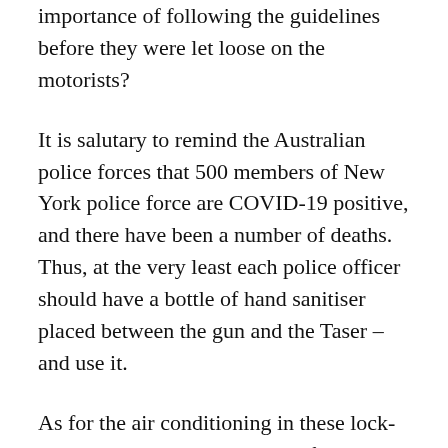importance of following the guidelines before they were let loose on the motorists?
It is salutary to remind the Australian police forces that 500 members of New York police force are COVID-19 positive, and there have been a number of deaths. Thus, at the very least each police officer should have a bottle of hand sanitiser placed between the gun and the Taser – and use it.
As for the air conditioning in these lock-down hotels, it is as important for the guards to be especially conscious of the health guidelines and not congregate, as police tend to do. Most of the air conditioning in the hotels is not